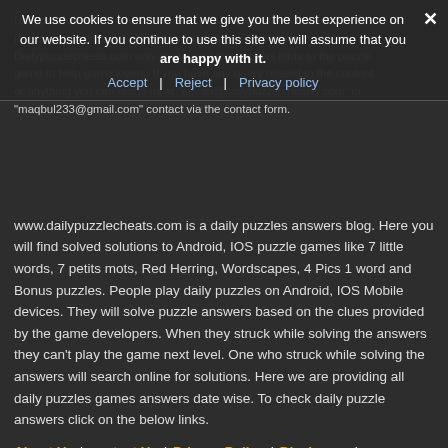We use cookies to ensure that we give you the best experience on our website. If you continue to use this site we will assume that you are happy with it.
Accept | Reject | Privacy policy
Dailypuzzlecheats.com shares daily puzzle game answers and clues. Dailypuzzlecheats not affiliates or any game Developers. Dailypuzzlecheats.com only shares solutions; clues hints to the puzzle game to help game lovers. If you have any query related to the content or anything you can reach us at "admin@dailypuzzlechearts.com" or "maqbul233@gmail.com" contact via the contact form. www.dailypuzzlecheats.com is a daily puzzles answers blog. Here you will find solved solutions to Android, IOS puzzle games like 7 little words, 7 petits mots, Red Herring, Wordscapes, 4 Pics 1 word and Bonus puzzles. People play daily puzzles on Android, IOS Mobile devices. They will solve puzzle answers based on the clues provided by the game developers. When they struck while solving the answers they can't play the game next level. One who struck while solving the answers will search online for solutions. Here we are providing all daily puzzles games answers date wise. To check daily puzzle answers click on the below links.
About Us | contact Us | Privacy Policy | Disclosure | Wordscapes Daily Answers | 7 Little Words Daily Answers | Daily Bonus Puzzle Answers | 7 Petits Mots Daily Answers | Red Herring Daily Answers 4 Pics 1 Word Answers
[Figure (logo): DMCA PROTECTED badge with green DMCA label and white PROTECTED text]